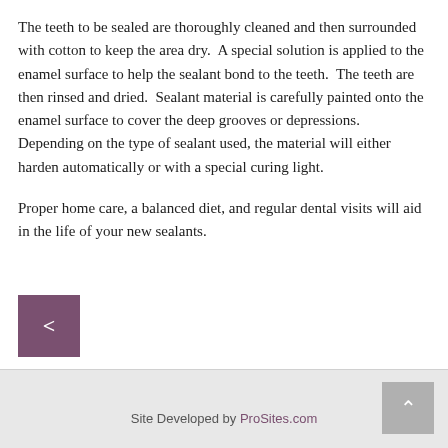The teeth to be sealed are thoroughly cleaned and then surrounded with cotton to keep the area dry.  A special solution is applied to the enamel surface to help the sealant bond to the teeth.  The teeth are then rinsed and dried.  Sealant material is carefully painted onto the enamel surface to cover the deep grooves or depressions.  Depending on the type of sealant used, the material will either harden automatically or with a special curing light.
Proper home care, a balanced diet, and regular dental visits will aid in the life of your new sealants.
[Figure (other): Navigation button with left arrow symbol (<) on a dark purple/mauve background]
Site Developed by ProSites.com